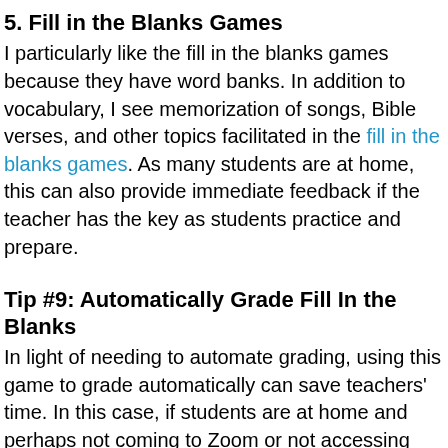5. Fill in the Blanks Games
I particularly like the fill in the blanks games because they have word banks. In addition to vocabulary, I see memorization of songs, Bible verses, and other topics facilitated in the fill in the blanks games. As many students are at home, this can also provide immediate feedback if the teacher has the key as students practice and prepare.
Tip #9: Automatically Grade Fill In the Blanks
In light of needing to automate grading, using this game to grade automatically can save teachers' time. In this case, if students are at home and perhaps not coming to Zoom or not accessing answer keys, this is a simple way